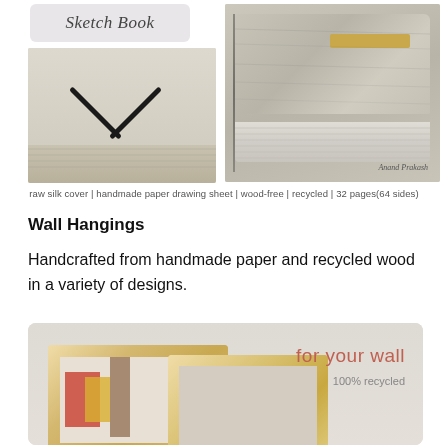[Figure (photo): Two photos side by side: left shows charcoal sticks crossed on handmade paper book pages; right shows close-up of a sketchbook with raw silk cover and a gold label strip, with signature 'Anand Prakash' in bottom right corner. Above the left photo is a decorative label reading 'Sketch Book' in italic script on a grey background.]
raw silk cover | handmade paper drawing sheet | wood-free | recycled | 32 pages(64 sides)
Wall Hangings
Handcrafted from handmade paper and recycled wood in a variety of designs.
[Figure (photo): Photo showing wooden picture frames with artwork inside, on a light background. Text overlay reads 'for your wall' in coral/pink color and '100% recycled' in grey below it.]